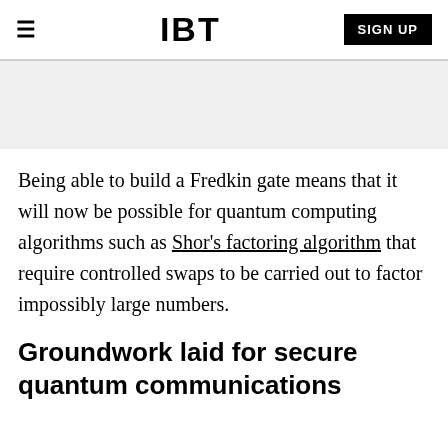IBT | SIGN UP
[Figure (other): Gray advertisement/banner placeholder area]
Being able to build a Fredkin gate means that it will now be possible for quantum computing algorithms such as Shor's factoring algorithm that require controlled swaps to be carried out to factor impossibly large numbers.
Groundwork laid for secure quantum communications